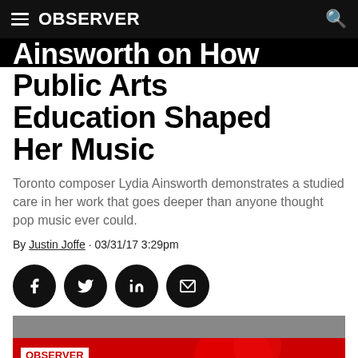OBSERVER
Ainsworth on How Public Arts Education Shaped Her Music
Toronto composer Lydia Ainsworth demonstrates a studied care in her work that goes deeper than anyone thought pop music ever could.
By Justin Joffe · 03/31/17 3:29pm
[Figure (other): Social sharing buttons: Facebook, Twitter, LinkedIn, Email]
[Figure (other): Observer subscription promo banner with OBSERVER logo, Subscribe button, and text 'to Keeping Watch for your entertainment needs']